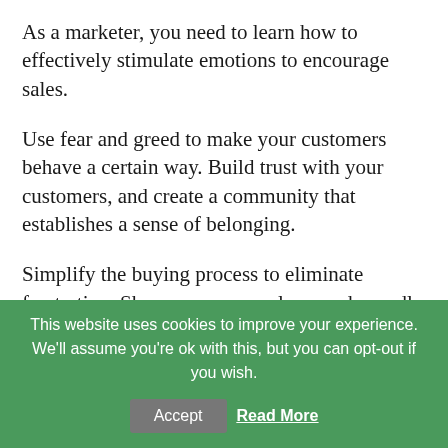As a marketer, you need to learn how to effectively stimulate emotions to encourage sales.
Use fear and greed to make your customers behave a certain way. Build trust with your customers, and create a community that establishes a sense of belonging.
Simplify the buying process to eliminate frustration. Share your core values, and proudly display any charitable donations.
This website uses cookies to improve your experience. We'll assume you're ok with this, but you can opt-out if you wish.
Accept
Read More